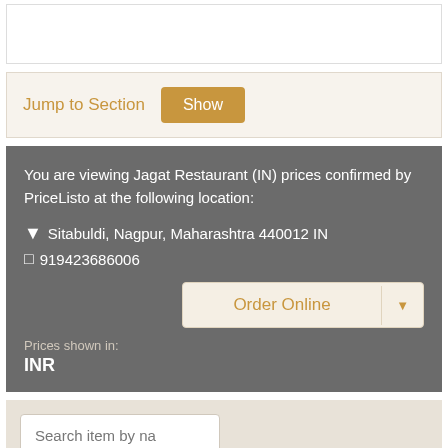[Figure (screenshot): White empty box at the top of the page]
Jump to Section   Show
You are viewing Jagat Restaurant (IN) prices confirmed by PriceListo at the following location:
Sitabuldi, Nagpur, Maharashtra 440012 IN
919423686006
Order Online
Prices shown in:
INR
Search item by na
Show Price Change Data BETA